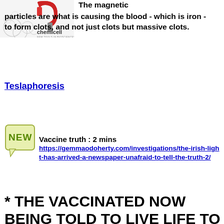[Figure (illustration): Chemicell logo/brand image with red magnet and biological cells on white background, text reads 'chemicell NEW TOOLS IN BIOSCIENCES']
The magnetic particles are what is causing the blood - which is iron - to form clots, and not just clots but massive clots.
Teslaphoresis
[Figure (illustration): Green speech bubble badge with 'NEW' text label]
Vaccine truth : 2 mins https://gemmaodoherty.com/investigations/the-irish-light-has-arrived-a-newspaper-unafraid-to-tell-the-truth-2/
* THE VACCINATED NOW BEING TOLD TO LIVE LIFE TO THE